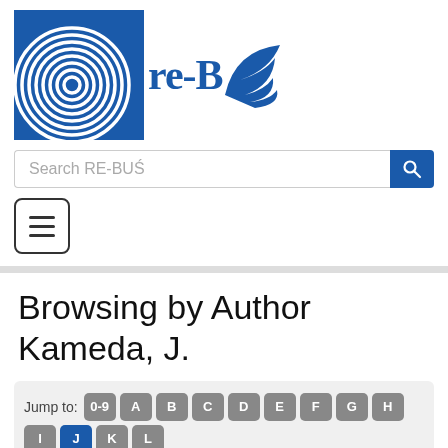[Figure (logo): RE-BUS repository logo with fingerprint maze image and stylized bird]
Search RE-BUŚ
[Figure (screenshot): Hamburger menu button with three horizontal lines]
Browsing by Author Kameda, J.
Jump to: 0-9 A B C D E F G H I J K L M N O P Q R S T U V W X Y Z